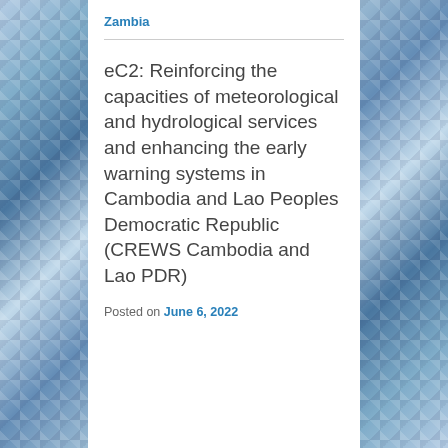Zambia
eC2: Reinforcing the capacities of meteorological and hydrological services and enhancing the early warning systems in Cambodia and Lao Peoples Democratic Republic (CREWS Cambodia and Lao PDR)
Posted on June 6, 2022